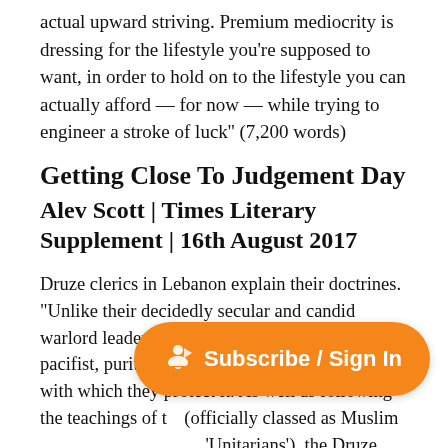actual upward striving. Premium mediocrity is dressing for the lifestyle you're supposed to want, in order to hold on to the lifestyle you can actually afford — for now — while trying to engineer a stroke of luck" (7,200 words)
Getting Close To Judgement Day
Alev Scott | Times Literary Supplement | 16th August 2017
Druze clerics in Lebanon explain their doctrines. "Unlike their decidedly secular and candid warlord leader, the Druze are known for their pacifist, puritanical faith and the fierce secrecy with which they protect it. As well as following the teachings of t(officially classed as Muslim'Unitarians'), the Druze believe in reincarnation and give the teachings of Pl and P th d i ht
[Figure (other): Orange Subscribe / Sign In button overlay with a bell/notification icon]